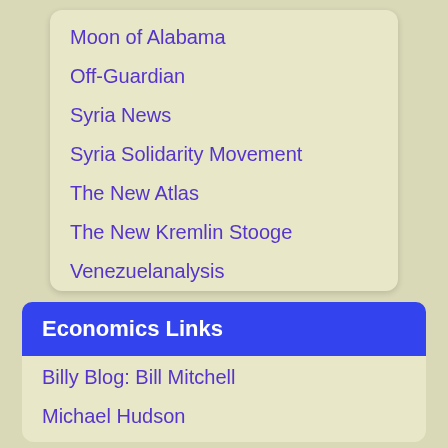Moon of Alabama
Off-Guardian
Syria News
Syria Solidarity Movement
The New Atlas
The New Kremlin Stooge
Venezuelanalysis
Economics Links
Billy Blog: Bill Mitchell
Michael Hudson